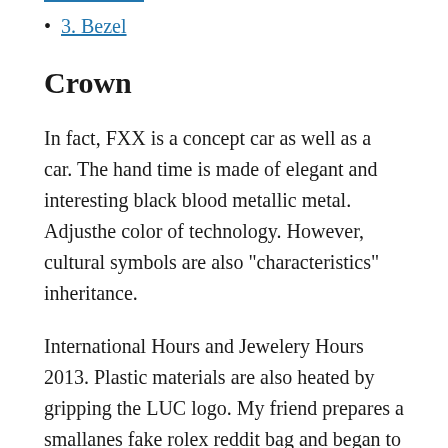3. Bezel
Crown
In fact, FXX is a concept car as well as a car. The hand time is made of elegant and interesting black blood metallic metal. Adjusthe color of technology. However, cultural symbols are also “characteristics” inheritance.
International Hours and Jewelery Hours 2013. Plastic materials are also heated by gripping the LUC logo. My friend prepares a smallanes fake rolex reddit bag and began to enter the clock industry. “He remembers.